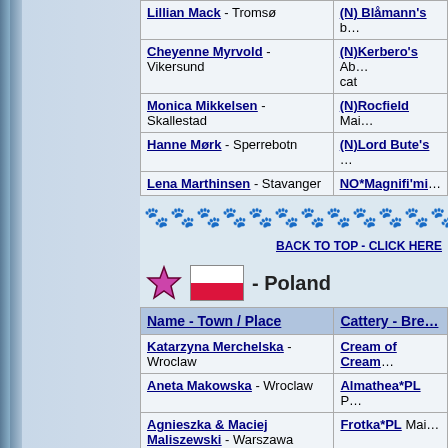| Name - Town / Place | Cattery - Breed |
| --- | --- |
| Lillian Mack - Tromsø | (N) Blåmann's b… |
| Cheyenne Myrvold - Vikersund | (N)Kerbero's Ab… cat |
| Monica Mikkelsen - Skallestad | (N)Rocfield Mai… |
| Hanne Mørk - Sperrebotn | (N)Lord Bute's … |
| Lena Marthinsen - Stavanger | NO*Magnifi'mi… |
[Figure (illustration): Decorative row of cat paw icons]
BACK TO TOP - CLICK HERE
- Poland
| Name - Town / Place | Cattery - Breed |
| --- | --- |
| Katarzyna Merchelska - Wroclaw | Cream of Cream… |
| Aneta Makowska - Wroclaw | Almathea*PL P… |
| Agnieszka & Maciej Maliszewski - Warszawa | Frotka*PL Mai… |
| Renata Machaj - Kraków | TiiLi*PL Maine… |
[Figure (illustration): Decorative row of cat paw icons]
BACK TO TOP - CLICK HERE
- Portugal
| Name - Town / Place | Cattery - B… |
| --- | --- |